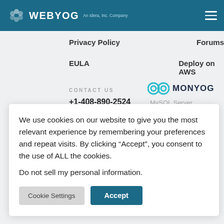WEBYOG An Idera, Inc. Company
Privacy Policy
Forums
EULA
Deploy on AWS
CONTACT US
+1-408-890-2524
[Figure (logo): Monyog owl logo with teal circles for eyes]
MONYOG
MySQL Server
Monitoring tool |
DB,
gle
n,
We use cookies on our website to give you the most relevant experience by remembering your preferences and repeat visits. By clicking “Accept”, you consent to the use of ALL the cookies.
Do not sell my personal information.
Cookie Settings
Accept